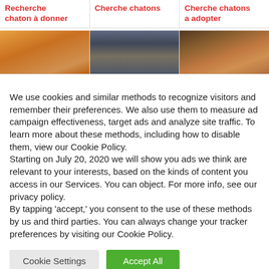Recherche chaton à donner
Cherche chatons
Cherche chatons a adopter
[Figure (photo): Orange/tabby cat photo thumbnail]
[Figure (photo): Person holding a small kitten photo thumbnail]
[Figure (photo): Cat with large ears photo thumbnail]
We use cookies and similar methods to recognize visitors and remember their preferences. We also use them to measure ad campaign effectiveness, target ads and analyze site traffic. To learn more about these methods, including how to disable them, view our Cookie Policy.
Starting on July 20, 2020 we will show you ads we think are relevant to your interests, based on the kinds of content you access in our Services. You can object. For more info, see our privacy policy.
By tapping 'accept,' you consent to the use of these methods by us and third parties. You can always change your tracker preferences by visiting our Cookie Policy.
Cookie Settings
Accept All